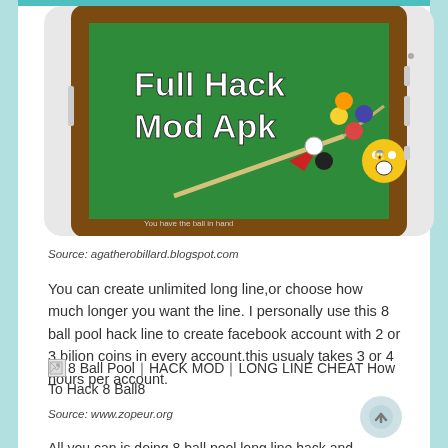[Figure (screenshot): Screenshot of a mobile phone showing a billiard/8 ball pool game with text 'Full Hack Mod Apk' and emojis on a green pool table background]
Source: agatherobillard.blogspot.com
You can create unlimited long line,or choose how much longer you want the line. I personally use this 8 ball pool hack line to create facebook account with 2 or 3 bilion coins in every account.this usualy takes 3 or 4 hours per account.
[Figure (screenshot): Broken image placeholder for: 8 Ball Pool｜HACK MOD｜LONG LINE CHEAT How To Hack 8 Ball8]
Source: www.zopeur.org
All you can is doing 8 ball pool long line hack and...